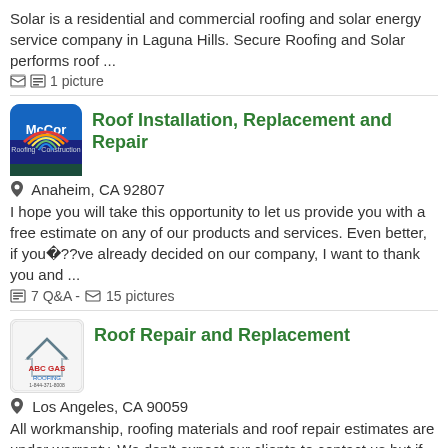Solar is a residential and commercial roofing and solar energy service company in Laguna Hills. Secure Roofing and Solar performs roof ...
1 picture
Roof Installation, Replacement and Repair
Anaheim, CA 92807
I hope you will take this opportunity to let us provide you with a free estimate on any of our products and services. Even better, if you□??ve already decided on our company, I want to thank you and ...
7 Q&A - 15 pictures
Roof Repair and Replacement
Los Angeles, CA 90059
All workmanship, roofing materials and roof repair estimates are under warranty. We don't expect our clients to contact us but if they have to, we will make ourselves available for them.
2 Q&A - 1 picture
Window and Door Replacement and Sales